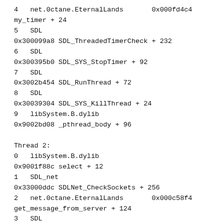4   net.0ctane.EternalLands       0x000fd4c4
my_timer + 24
5   SDL
0x300099a8 SDL_ThreadedTimerCheck + 232
6   SDL
0x300395b0 SDL_SYS_StopTimer + 92
7   SDL
0x3002b454 SDL_RunThread + 72
8   SDL
0x30039304 SDL_SYS_KillThread + 24
9   libSystem.B.dylib
0x9002bd08 _pthread_body + 96

Thread 2:
0   libSystem.B.dylib
0x9001f88c select + 12
1   SDL_net
0x33000ddc SDLNet_CheckSockets + 256
2   net.0ctane.EternalLands       0x000c58f4
get_message_from_server + 124
3   SDL
0x3002b454 SDL_RunThread + 72